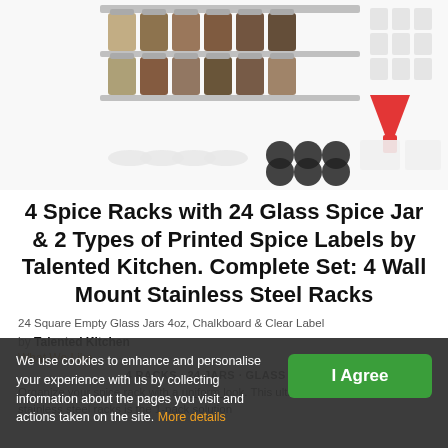[Figure (photo): Product photo showing 4 stainless steel wall-mount spice racks with glass spice jars, a red funnel, chalkboard labels, clear labels, and label sheets arranged on a white background.]
4 Spice Racks with 24 Glass Spice Jar & 2 Types of Printed Spice Labels by Talented Kitchen. Complete Set: 4 Wall Mount Stainless Steel Racks
24 Square Empty Glass Jars 4oz, Chalkboard & Clear Label
by Talented Kitchen
What We Like
4 RACKS · 24 JARS · GLASS · 4 OZ
Organize your spice rack with a uniform look. This ultimate set comes with 4 stainless steel racks is the 1-pack solution
We use cookies to enhance and personalise your experience with us by collecting information about the pages you visit and actions taken on the site. More details
I Agree